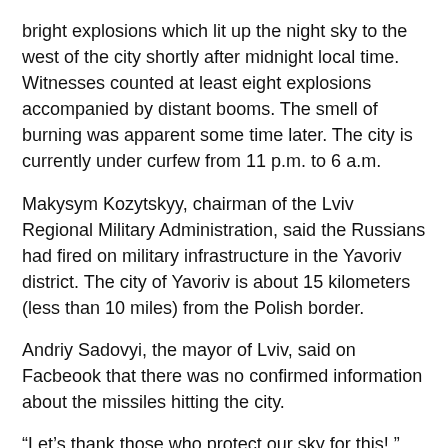bright explosions which lit up the night sky to the west of the city shortly after midnight local time. Witnesses counted at least eight explosions accompanied by distant booms. The smell of burning was apparent some time later. The city is currently under curfew from 11 p.m. to 6 a.m.
Makysym Kozytskyy, chairman of the Lviv Regional Military Administration, said the Russians had fired on military infrastructure in the Yavoriv district. The city of Yavoriv is about 15 kilometers (less than 10 miles) from the Polish border.
Andriy Sadovyi, the mayor of Lviv, said on Facbeook that there was no confirmed information about the missiles hitting the city.
“Let’s thank those who protect our sky for this!,” Sadovyi said. “In the morning we will give more accurate information. Take care of yourself and do not ignore air alarms!”